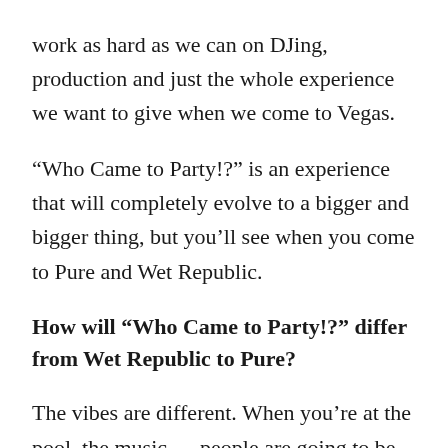work as hard as we can on DJing, production and just the whole experience we want to give when we come to Vegas.
“Who Came to Party!?” is an experience that will completely evolve to a bigger and bigger thing, but you’ll see when you come to Pure and Wet Republic.
How will “Who Came to Party!?” differ from Wet Republic to Pure?
The vibes are different. When you’re at the pool, the music … people are going to be vibing to it,